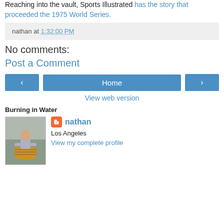Reaching into the vault, Sports Illustrated has the story that proceeded the 1975 World Series.
nathan at 1:32:00 PM
No comments:
Post a Comment
[Figure (screenshot): Navigation buttons: left arrow, Home, right arrow]
View web version
Burning in Water
[Figure (photo): Profile photo of a child in a wooden barrel]
nathan - Los Angeles - View my complete profile